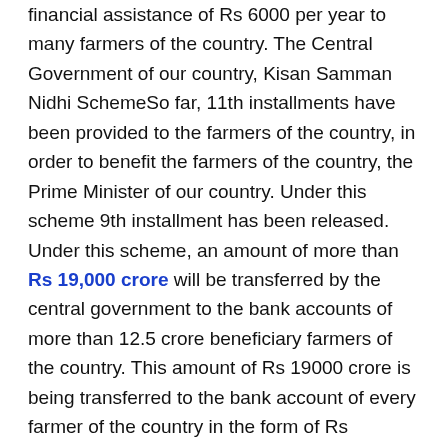financial assistance of Rs 6000 per year to many farmers of the country. The Central Government of our country, Kisan Samman Nidhi SchemeSo far, 11th installments have been provided to the farmers of the country, in order to benefit the farmers of the country, the Prime Minister of our country. Under this scheme 9th installment has been released. Under this scheme, an amount of more than Rs 19,000 crore will be transferred by the central government to the bank accounts of more than 12.5 crore beneficiary farmers of the country. This amount of Rs 19000 crore is being transferred to the bank account of every farmer of the country in the form of Rs 2000,2000.
If you are a farmer, then this question has been going on in your mind for a long time as soon as the money for the tenth installment comes, it becomes necessary to know the date of the 11th installment money in the mind of the farmers, in such a situation, by the central government i.e. Modi